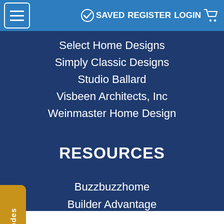≡  SAVED  REGISTER  LOGIN  🛒
Select Home Designs
Simply Classic Designs
Studio Ballard
Visbeen Architects, Inc
Weinmaster Home Design
RESOURCES
Buzzbuzzhome
Builder Advantage
Builder Magazine
Journal of Light Construction
Zonda Home
Promo Codes